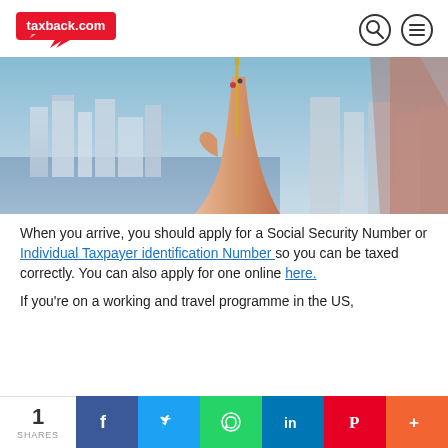taxback.com
[Figure (photo): A hand with decorated nails holding a thin golden stick/pen, raised against a blurred city skyline and blue sky background.]
When you arrive, you should apply for a Social Security Number or Individual Taxpayer identification Number so you can be taxed correctly. You can also apply for one online here.
If you're on a working and travel programme in the US,
1 SHARES | Facebook | Twitter | WhatsApp | LinkedIn | Pinterest | More